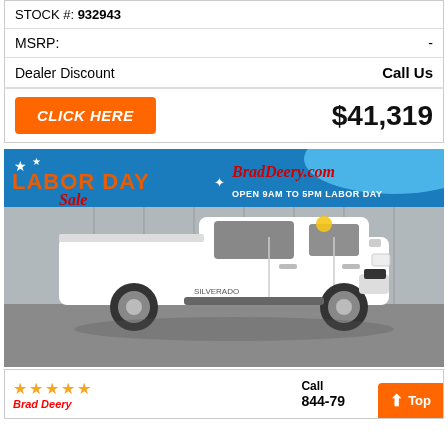STOCK #: 932943
MSRP: -
Dealer Discount   Call Us
CLICK HERE   $41,319
[Figure (photo): White Chevrolet Silverado truck photographed inside a dealership showroom with a Labor Day Sale banner (BradDeery.com, Open 9AM to 5PM Labor Day) in the background.]
Brad Deery (logo with stars)   Call Us  844-79...   Top button